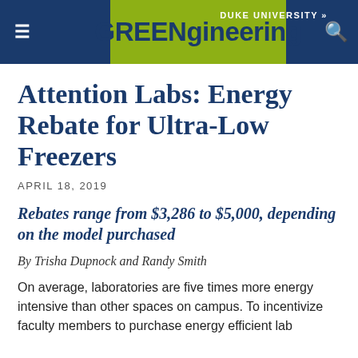DUKE UNIVERSITY » | GREENgineering
Attention Labs: Energy Rebate for Ultra-Low Freezers
APRIL 18, 2019
Rebates range from $3,286 to $5,000, depending on the model purchased
By Trisha Dupnock and Randy Smith
On average, laboratories are five times more energy intensive than other spaces on campus. To incentivize faculty members to purchase energy efficient lab